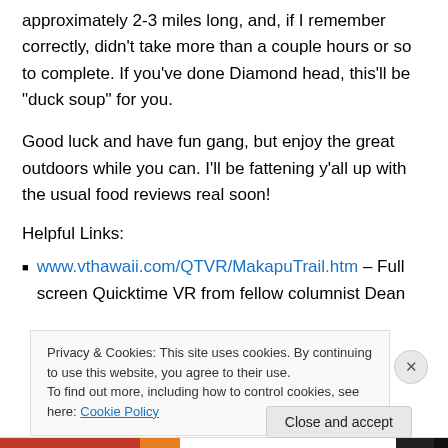approximately 2-3 miles long, and, if I remember correctly, didn’t take more than a couple hours or so to complete. If you’ve done Diamond head, this’ll be “duck soup” for you.
Good luck and have fun gang, but enjoy the great outdoors while you can. I’ll be fattening y’all up with the usual food reviews real soon!
Helpful Links:
www.vthawaii.com/QTVR/MakapuTrail.htm – Full screen Quicktime VR from fellow columnist Dean
Privacy & Cookies: This site uses cookies. By continuing to use this website, you agree to their use.
To find out more, including how to control cookies, see here: Cookie Policy
Close and accept